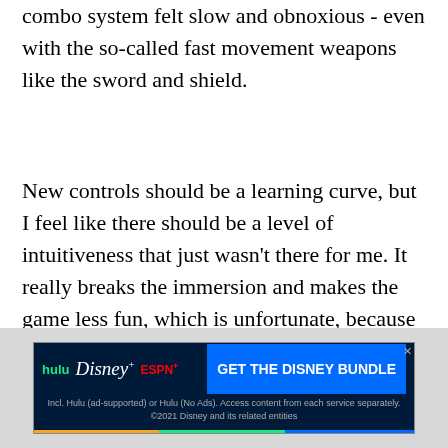combo system felt slow and obnoxious - even with the so-called fast movement weapons like the sword and shield.
New controls should be a learning curve, but I feel like there should be a level of intuitiveness that just wasn't there for me. It really breaks the immersion and makes the game less fun, which is unfortunate, because there is a lot of really good stuff here. But games need good controls and I don't think Monster Hunter: World has them.
THE BOTTOM LINE
[Figure (other): Disney Bundle advertisement banner showing Hulu, Disney+, and ESPN+ logos with 'GET THE DISNEY BUNDLE' call to action button and fine print text.]